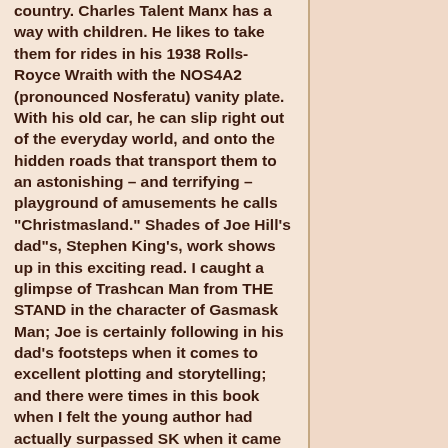country. Charles Talent Manx has a way with children. He likes to take them for rides in his 1938 Rolls-Royce Wraith with the NOS4A2 (pronounced Nosferatu) vanity plate. With his old car, he can slip right out of the everyday world, and onto the hidden roads that transport them to an astonishing – and terrifying – playground of amusements he calls "Christmasland." Shades of Joe Hill's dad"s, Stephen King's, work shows up in this exciting read. I caught a glimpse of Trashcan Man from THE STAND in the character of Gasmask Man; Joe is certainly following in his dad's footsteps when it comes to excellent plotting and storytelling; and there were times in this book when I felt the young author had actually surpassed SK when it came to gore and horror. So if you're a bit squeamish, you better pass on this one. Me, I thoroughly enjoyed it, although there were a few scenes when I had to put a hand over my eyes and read through